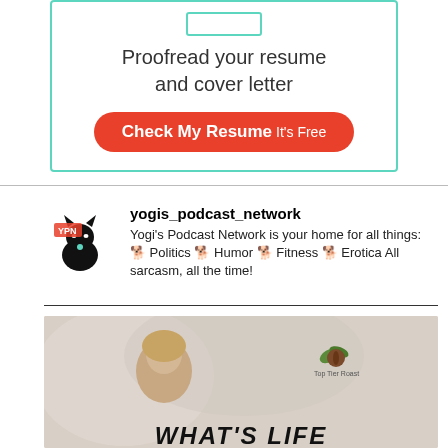[Figure (infographic): Advertisement box with teal border showing 'Proofread your resume and cover letter' with a red 'Check My Resume It's Free' button]
[Figure (infographic): Yogi's Podcast Network profile with black cat logo, username yogis_podcast_network, and description about Politics, Humor, Fitness, Erotica content]
[Figure (photo): Podcast episode thumbnail showing a woman and 'Top Tier Roast' coffee logo, with partially visible title text 'WHAT'S LIFE' at bottom]